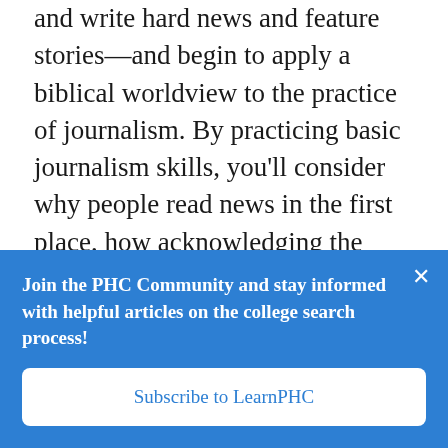and write hard news and feature stories—and begin to apply a biblical worldview to the practice of journalism. By practicing basic journalism skills, you'll consider why people read news in the first place, how acknowledging the truth of Christianity affects the practice of journalism, and how the role in society of a Christian journalist changes with the context in which he or she is writing. This course fulfills a requirement
Join the PHC Community and stay informed with helpful articles on the college search process!
Subscribe to LearnPHC